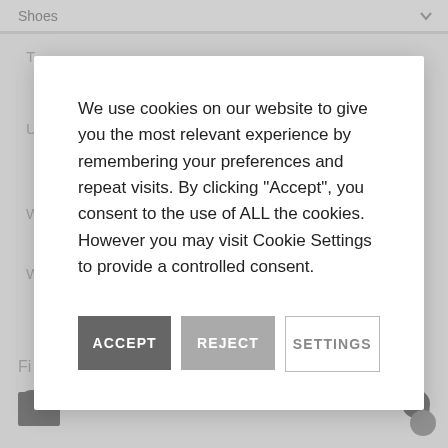We use cookies on our website to give you the most relevant experience by remembering your preferences and repeat visits. By clicking "Accept", you consent to the use of ALL the cookies. However you may visit Cookie Settings to provide a controlled consent.
ACCEPT | REJECT | SETTINGS